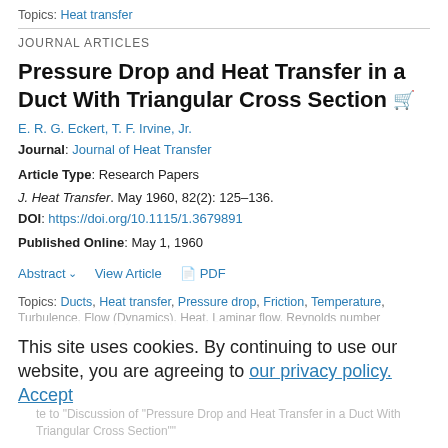Topics: Heat transfer
JOURNAL ARTICLES
Pressure Drop and Heat Transfer in a Duct With Triangular Cross Section
E. R. G. Eckert, T. F. Irvine, Jr.
Journal: Journal of Heat Transfer
Article Type: Research Papers
J. Heat Transfer. May 1960, 82(2): 125–136.
DOI: https://doi.org/10.1115/1.3679891
Published Online: May 1, 1960
Abstract  View Article  PDF
Topics: Ducts, Heat transfer, Pressure drop, Friction, Temperature, Turbulence, Flow (Dynamics), Heat, Laminar flow, Reynolds number
This site uses cookies. By continuing to use our website, you are agreeing to our privacy policy. Accept